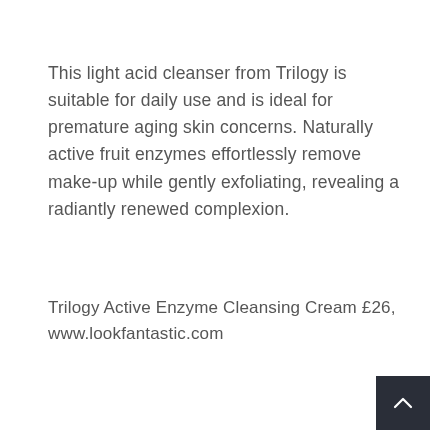This light acid cleanser from Trilogy is suitable for daily use and is ideal for premature aging skin concerns. Naturally active fruit enzymes effortlessly remove make-up while gently exfoliating, revealing a radiantly renewed complexion.
Trilogy Active Enzyme Cleansing Cream £26, www.lookfantastic.com
[Figure (other): Dark navy/charcoal back-to-top button with upward chevron arrow in bottom-right corner]